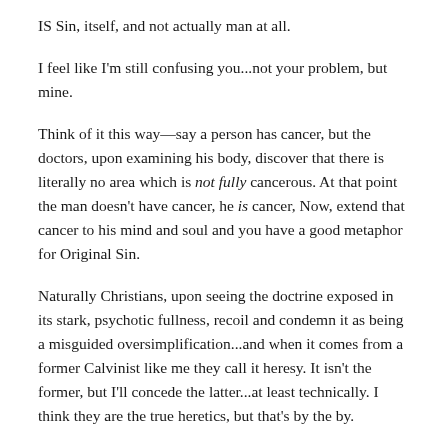IS Sin, itself, and not actually man at all.
I feel like I'm still confusing you...not your problem, but mine.
Think of it this way—say a person has cancer, but the doctors, upon examining his body, discover that there is literally no area which is not fully cancerous. At that point the man doesn't have cancer, he is cancer, Now, extend that cancer to his mind and soul and you have a good metaphor for Original Sin.
Naturally Christians, upon seeing the doctrine exposed in its stark, psychotic fullness, recoil and condemn it as being a misguided oversimplification...and when it comes from a former Calvinist like me they call it heresy. It isn't the former, but I'll concede the latter...at least technically. I think they are the true heretics, but that's by the by.